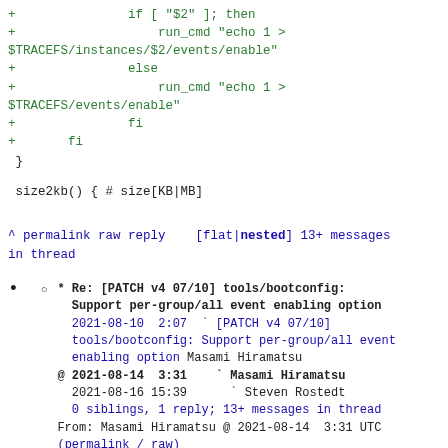+               if [ "$2" ]; then
+                   run_cmd "echo 1 >
$TRACEFS/instances/$2/events/enable"
+               else
+                   run_cmd "echo 1 >
$TRACEFS/events/enable"
+               fi
+       fi
 }
size2kb() { # size[KB|MB]
^ permalink raw reply    [flat|nested] 13+ messages in thread
* Re: [PATCH v4 07/10] tools/bootconfig: Support per-group/all event enabling option
2021-08-10  2:07 ` [PATCH v4 07/10] tools/bootconfig: Support per-group/all event enabling option Masami Hiramatsu
@ 2021-08-14  3:31   ` Masami Hiramatsu
  2021-08-16 15:39     ` Steven Rostedt
  0 siblings, 1 reply; 13+ messages in thread
From: Masami Hiramatsu @ 2021-08-14  3:31 UTC
(permalink / raw)
To: Masami Hiramatsu; +Cc: Steven Rostedt, linux-kernel, Tom Zanussi